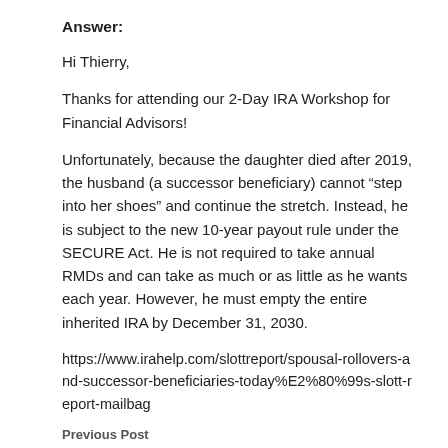Answer:
Hi Thierry,
Thanks for attending our 2-Day IRA Workshop for Financial Advisors!
Unfortunately, because the daughter died after 2019, the husband (a successor beneficiary) cannot “step into her shoes” and continue the stretch. Instead, he is subject to the new 10-year payout rule under the SECURE Act. He is not required to take annual RMDs and can take as much or as little as he wants each year. However, he must empty the entire inherited IRA by December 31, 2030.
https://www.irahelp.com/slottreport/spousal-rollovers-and-successor-beneficiaries-today%E2%80%99s-slott-report-mailbag
Previous Post